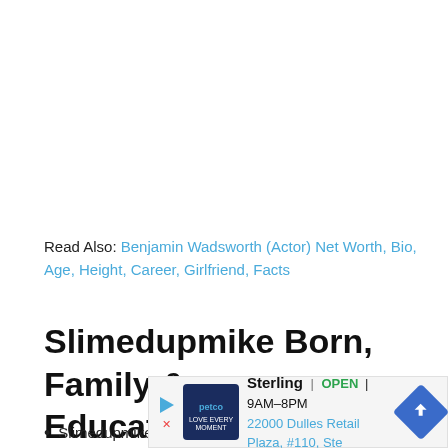Read Also: Benjamin Wadsworth (Actor) Net Worth, Bio, Age, Height, Career, Girlfriend, Facts
Slimedupmike Born, Family & Education
Slimedupmike Real name is Mychael
[Figure (other): Petco ad banner: Sterling OPEN 9AM-8PM, 22000 Dulles Retail Plaza, #110, Ste with navigation arrow]
He